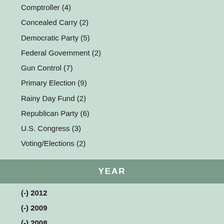Comptroller (4)
Concealed Carry (2)
Democratic Party (5)
Federal Government (2)
Gun Control (7)
Primary Election (9)
Rainy Day Fund (2)
Republican Party (6)
U.S. Congress (3)
Voting/Elections (2)
YEAR
(-) 2012
(-) 2009
(-) 2008
(-) 2002
2016 (1)
2004 (8)
2000 (2)